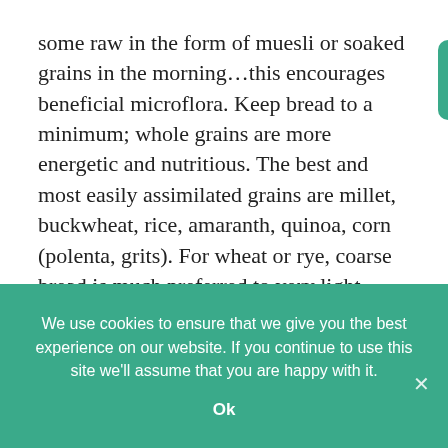some raw in the form of muesli or soaked grains in the morning…this encourages beneficial microflora. Keep bread to a minimum; whole grains are more energetic and nutritious. The best and most easily assimilated grains are millet, buckwheat, rice, amaranth, quinoa, corn (polenta, grits). For wheat or rye, coarse bread is much preferred to very light refined bread.
We use cookies to ensure that we give you the best experience on our website. If you continue to use this site we'll assume that you are happy with it.
Ok